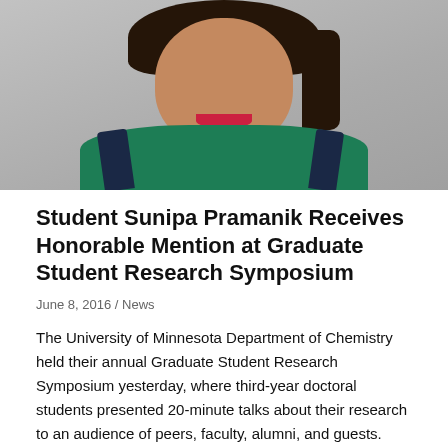[Figure (photo): Portrait photo of a young woman with dark hair, wearing a green and navy striped shirt, smiling, against a gray background]
Student Sunipa Pramanik Receives Honorable Mention at Graduate Student Research Symposium
June 8, 2016 / News
The University of Minnesota Department of Chemistry held their annual Graduate Student Research Symposium yesterday, where third-year doctoral students presented 20-minute talks about their research to an audience of peers, faculty, alumni, and guests. Panels of judges including